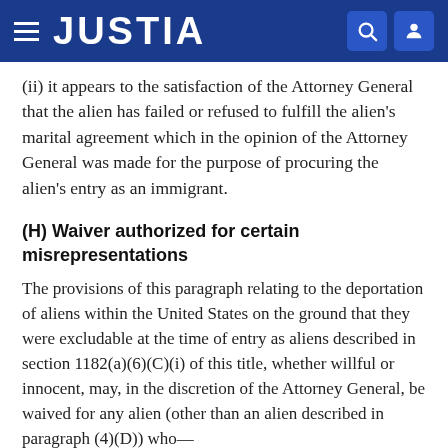JUSTIA
(ii) it appears to the satisfaction of the Attorney General that the alien has failed or refused to fulfill the alien's marital agreement which in the opinion of the Attorney General was made for the purpose of procuring the alien's entry as an immigrant.
(H) Waiver authorized for certain misrepresentations
The provisions of this paragraph relating to the deportation of aliens within the United States on the ground that they were excludable at the time of entry as aliens described in section 1182(a)(6)(C)(i) of this title, whether willful or innocent, may, in the discretion of the Attorney General, be waived for any alien (other than an alien described in paragraph (4)(D)) who—
(i) is the spouse, parent, son, or daughter of a citizen of the United States or of an alien lawfully admitted to the